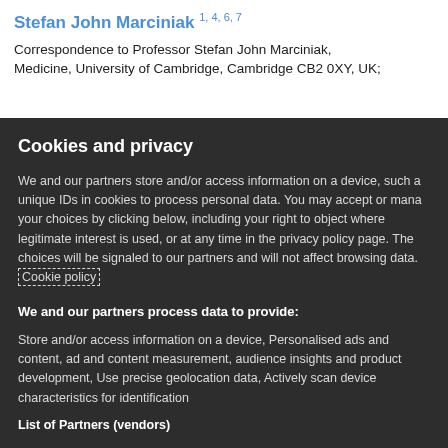Stefan John Marciniak 1, 4, 6, 7
Correspondence to Professor Stefan John Marciniak, Medicine, University of Cambridge, Cambridge CB2 0XY, UK;
Cookies and privacy
We and our partners store and/or access information on a device, such as unique IDs in cookies to process personal data. You may accept or manage your choices by clicking below, including your right to object where legitimate interest is used, or at any time in the privacy policy page. These choices will be signaled to our partners and will not affect browsing data. Cookie policy
We and our partners process data to provide:
Store and/or access information on a device, Personalised ads and content, ad and content measurement, audience insights and product development, Use precise geolocation data, Actively scan device characteristics for identification
List of Partners (vendors)
I Accept